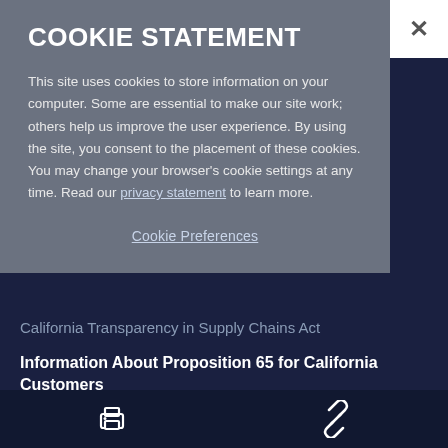COOKIE STATEMENT
This site uses cookies to store information on your computer. Some are essential to make our site work; others help us improve the user experience. By using the site, you consent to the placement of these cookies. You may change your browser's cookie settings at any time. Read our privacy statement to learn more.
Cookie Preferences
California Transparency in Supply Chains Act
Information About Proposition 65 for California Customers
Digital Millennium Copyright Act (DMCA) Notification
[print icon] [link icon]